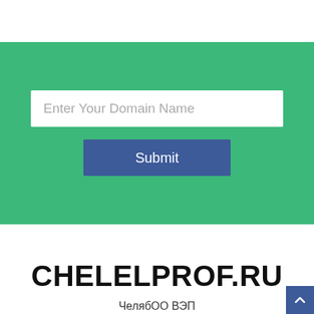[Figure (screenshot): Green section with a text input field labeled 'Enter Your Domain Name' and a blue Submit button]
CHELELPROF.RU
ЧелябОО ВЭП
Шаблоны для Joomla 3.3 ЧЕЛЯБИНСКАЯ ОБЛАСТНА...